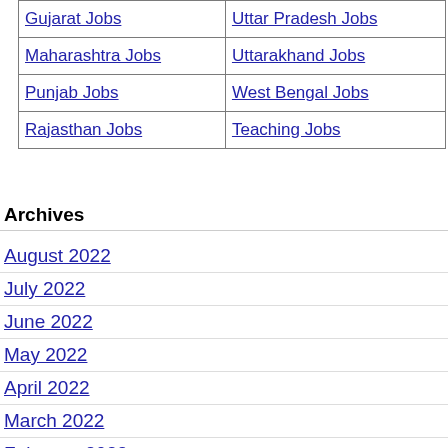| Gujarat Jobs | Uttar Pradesh Jobs |
| Maharashtra Jobs | Uttarakhand Jobs |
| Punjab Jobs | West Bengal Jobs |
| Rajasthan Jobs | Teaching Jobs |
Archives
August 2022
July 2022
June 2022
May 2022
April 2022
March 2022
February 2022
January 2022
December 2021
November 2021
October 2021